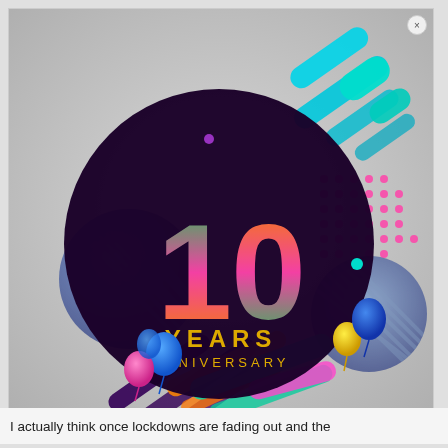[Figure (illustration): 10 Years Anniversary graphic design: a dark purple circle with colorful '10' text (gradient green, orange, pink) and 'YEARS ANNIVERSARY' in gold letters, surrounded by colorful geometric shapes (cyan, pink, teal, orange, green, purple) and balloons (blue, pink, yellow) on a light gray background.]
I actually think once lockdowns are fading out and the